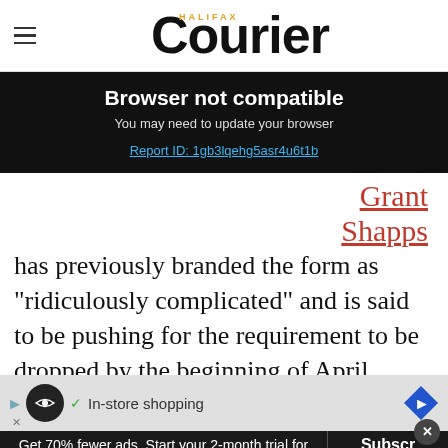Halifax Courier
Browser not compatible
You may need to update your browser
Report ID: 1gb3lqehg5asr4u6t1b
Grant Shapps
has previously branded the form as “ridiculously complicated” and is said to be pushing for the requirement to be dropped by the beginning of April.
[Figure (screenshot): In-store shopping advertisement overlay]
Get 70% fewer ads. Start your 2-month trial for just £2 per month
Subscribe Today